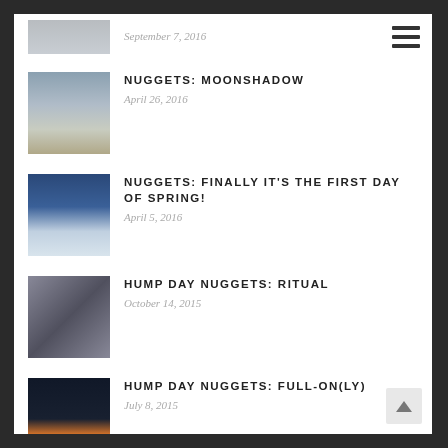[Figure (photo): Partial thumbnail at top of page, cropped]
September 7, 2016
[Figure (photo): Mountain road landscape thumbnail]
NUGGETS: MOONSHADOW
April 26, 2016
[Figure (photo): Snow-covered trees and blue sky thumbnail]
NUGGETS: FINALLY IT'S THE FIRST DAY OF SPRING!
April 5, 2016
[Figure (photo): Car side mirror reflection thumbnail]
HUMP DAY NUGGETS: RITUAL
October 14, 2015
[Figure (photo): Person silhouette at sunset thumbnail]
HUMP DAY NUGGETS: FULL-ON(LY)
July 8, 2015
[Figure (photo): Bottles and items on deck thumbnail]
PUTZING: DECK NUGGETS
June 1, 2015